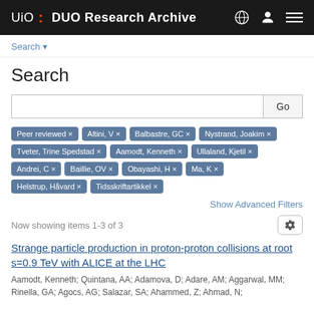UiO DUO Research Archive
Search ▾
Search
Go
Peer reviewed × | Altini, V × | Balbastre, GC × | Nystrand, Joakim × | Tveter, Trine Spedstad × | Aamodt, Kenneth × | Ullaland, Kjetil × | Andrei, C × | Baillie, OV × | Obayashi, H × | Ma, K × | Helstrup, Håvard × | Tidsskriftartikkel ×
Show Advanced Filters
Now showing items 1-3 of 3
Strange particle production in proton-proton collisions at root s=0.9 TeV with ALICE at the LHC
Aamodt, Kenneth; Quintana, AA; Adamova, D; Adare, AM; Aggarwal, MM; Rinella, GA; Agocs, AG; Salazar, SA; Ahammed, Z; Ahmad, N;